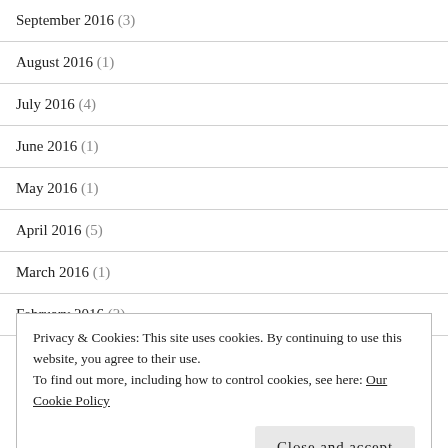September 2016 (3)
August 2016 (1)
July 2016 (4)
June 2016 (1)
May 2016 (1)
April 2016 (5)
March 2016 (1)
February 2016 (2)
December 2015 (2)
Privacy & Cookies: This site uses cookies. By continuing to use this website, you agree to their use.
To find out more, including how to control cookies, see here: Our Cookie Policy
July 2015 (5)